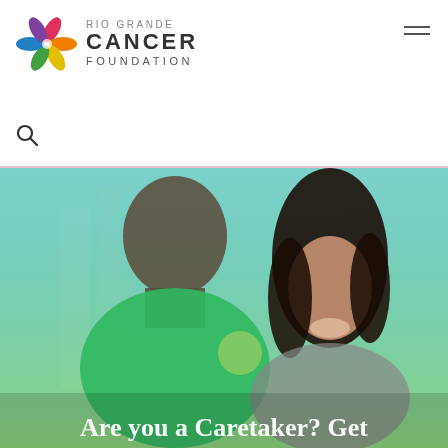[Figure (logo): Rio Grande Cancer Foundation logo with colorful pinwheel/flower and text]
[Figure (illustration): Hamburger menu icon (three horizontal lines) in top right corner]
[Figure (other): Search (magnifying glass) icon below the logo]
[Figure (photo): Hero photo of two people (a bald man seen from behind, and a smiling woman facing camera) with teal/green color overlay, partially cut off at bottom with text overlay reading 'Are you a Caretaker? Get']